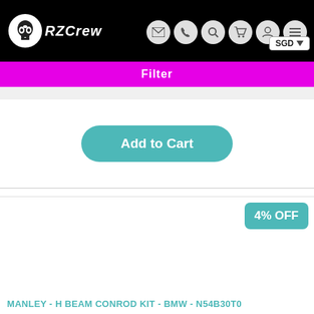RZCrew - nav bar with logo, icons (email, phone, search, cart, account, menu), SGD currency selector
Filter
Add to Cart
4% OFF
MANLEY - H BEAM CONROD KIT - BMW - N54B30T0